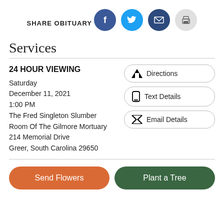SHARE OBITUARY
[Figure (infographic): Four circular social sharing icons: Facebook (dark blue), Twitter (light blue), Email (dark blue), Print (light gray)]
Services
24 HOUR VIEWING
Saturday
December 11, 2021
1:00 PM
The Fred Singleton Slumber Room Of The Gilmore Mortuary
214 Memorial Drive
Greer, South Carolina 29650
[Figure (infographic): Three action buttons: Directions, Text Details, Email Details]
Send Flowers
Plant a Tree